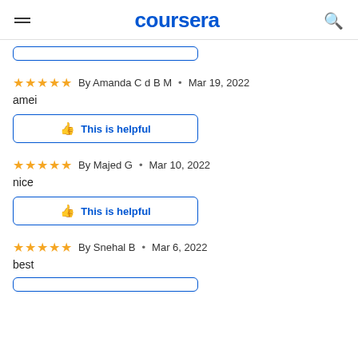coursera
By Amanda C d B M · Mar 19, 2022
amei
This is helpful
By Majed G · Mar 10, 2022
nice
This is helpful
By Snehal B · Mar 6, 2022
best